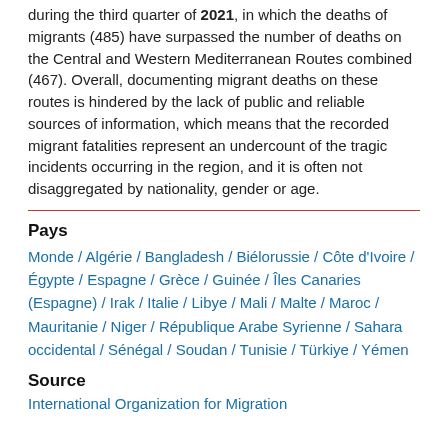during the third quarter of 2021, in which the deaths of migrants (485) have surpassed the number of deaths on the Central and Western Mediterranean Routes combined (467). Overall, documenting migrant deaths on these routes is hindered by the lack of public and reliable sources of information, which means that the recorded migrant fatalities represent an undercount of the tragic incidents occurring in the region, and it is often not disaggregated by nationality, gender or age.
Pays
Monde / Algérie / Bangladesh / Biélorussie / Côte d'Ivoire / Égypte / Espagne / Grèce / Guinée / Îles Canaries (Espagne) / Irak / Italie / Libye / Mali / Malte / Maroc / Mauritanie / Niger / République Arabe Syrienne / Sahara occidental / Sénégal / Soudan / Tunisie / Türkiye / Yémen
Source
International Organization for Migration